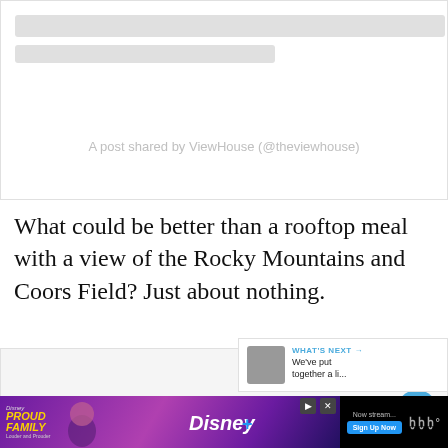[Figure (screenshot): Instagram embed skeleton loading state with gray placeholder bars and attribution text 'A post shared by ViewHouse (@theviewhouse)']
What could be better than a rooftop meal with a view of the Rocky Mountains and Coors Field? Just about nothing.
[Figure (screenshot): Embedded media content block (light gray background) with floating heart/like button (blue circle), share button (white circle), and 'What's Next' widget showing thumbnail and text 'We've put together a li...']
[Figure (screenshot): Advertisement banner for Disney+ 'The Proud Family' streaming show with 'Now streaming', 'Sign Up Now' button, Disney+ logo, and Milk+ wordmark on black background]